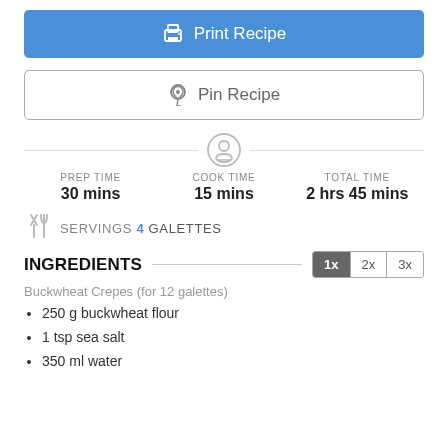[Figure (other): Blue button with printer icon labeled 'Print Recipe']
[Figure (other): White button with Pinterest P icon labeled 'Pin Recipe']
[Figure (other): Recipe timer/person icon centered with horizontal divider lines on either side]
PREP TIME 30 mins
COOK TIME 15 mins
TOTAL TIME 2 hrs 45 mins
[Figure (other): Crossed fork and knife icon (servings)]
SERVINGS 4 galettes
INGREDIENTS
Buckwheat Crepes (for 12 galettes)
250 g buckwheat flour
1 tsp sea salt
350 ml water